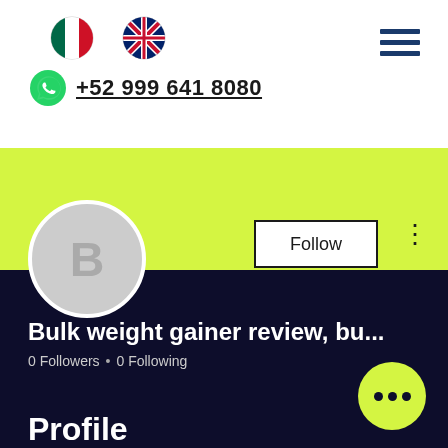[Figure (screenshot): Mexican flag emoji icon]
[Figure (screenshot): UK flag emoji icon]
+52 999 641 8080
[Figure (screenshot): Hamburger menu icon (three horizontal lines)]
[Figure (screenshot): User profile card with lime green banner, avatar placeholder with letter B, Follow button, three-dot menu, username 'Bulk weight gainer review, bu...', 0 Followers, 0 Following, Profile label, and yellow FAB button with three dots]